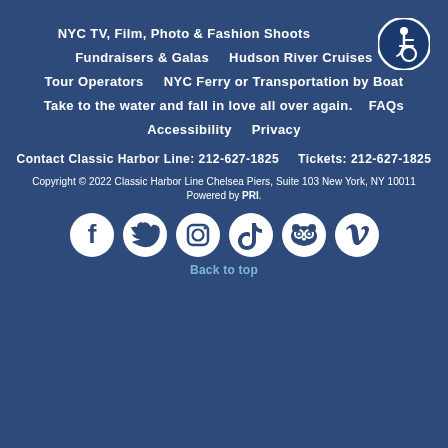NYC TV, Film, Photo & Fashion Shoots
Fundraisers & Galas    Hudson River Cruises
Tour Operators    NYC Ferry or Transportation by Boat
Take to the water and fall in love all over again.    FAQs
Accessibility    Privacy
Contact Classic Harbor Line: 212-627-1825    Tickets: 212-627-1825
Copyright © 2022 Classic Harbor Line Chelsea Piers, Suite 103 New York, NY 10011
Powered by PRI.
[Figure (illustration): Accessibility wheelchair icon - white figure in wheelchair on blue circle]
[Figure (illustration): Social media icons row: Facebook, Twitter, Instagram, TikTok, Tripadvisor, Vimeo]
Back to top